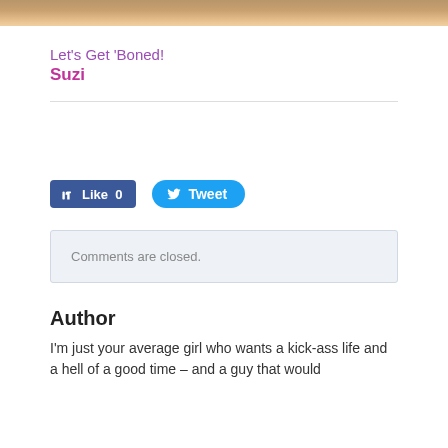[Figure (photo): Partial photo strip at top of page showing a person outdoors]
Let's Get 'Boned!
Suzi
[Figure (screenshot): Facebook Like button (Like 0) and Twitter Tweet button]
Comments are closed.
Author
I'm just your average girl who wants a kick-ass life and a hell of a good time – and a guy that would...